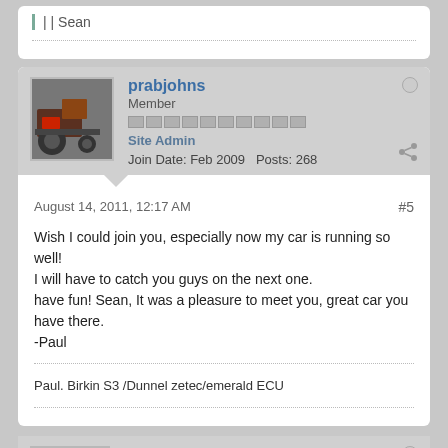|| Sean
prabjohns
Member
Site Admin
Join Date: Feb 2009  Posts: 268
August 14, 2011, 12:17 AM
#5
Wish I could join you, especially now my car is running so well!
I will have to catch you guys on the next one.
have fun! Sean, It was a pleasure to meet you, great car you have there.
-Paul
Paul. Birkin S3 /Dunnel zetec/emerald ECU
slomove
Member